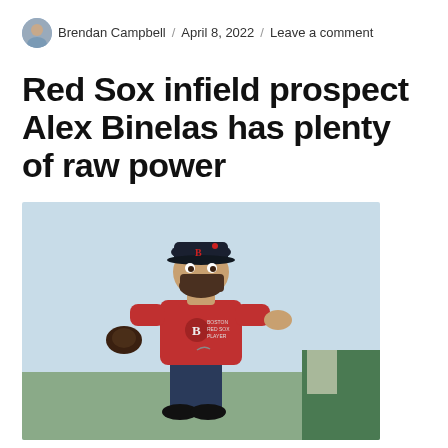Brendan Campbell / April 8, 2022 / Leave a comment
Red Sox infield prospect Alex Binelas has plenty of raw power
[Figure (photo): Alex Binelas, Boston Red Sox infield prospect, crouched in a fielding stance on a baseball field, wearing a red Boston Red Sox t-shirt and navy cap with a 'B' logo, holding a dark glove in his right hand.]